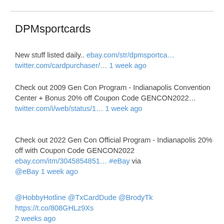DPMsportcards
New stuff listed daily.. ebay.com/str/dpmsportca… twitter.com/cardpurchaser/… 1 week ago
Check out 2009 Gen Con Program - Indianapolis Convention Center + Bonus 20% off Coupon Code GENCON2022… twitter.com/i/web/status/1… 1 week ago
Check out 2022 Gen Con Official Program - Indianapolis 20% off with Coupon Code GENCON2022 ebay.com/itm/3045854851… #eBay via @eBay 1 week ago
@HobbyHotline @TxCardDude @BrodyTk https://t.co/808GHLz9Xs 2 weeks ago
RT @SlimJimMadness: Please don't ever have the @nsccshow in AC again. We walked less than a mile to the show and passed multiple hookers, p… 3 weeks ago